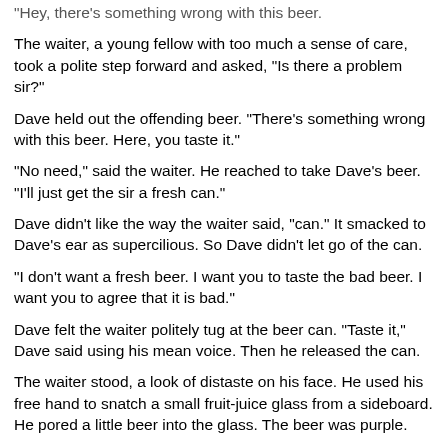"Hey, there's something wrong with this beer."
The waiter, a young fellow with too much a sense of care, took a polite step forward and asked, "Is there a problem sir?"
Dave held out the offending beer. "There's something wrong with this beer. Here, you taste it."
"No need," said the waiter. He reached to take Dave's beer. "I'll just get the sir a fresh can."
Dave didn't like the way the waiter said, "can." It smacked to Dave's ear as supercilious. So Dave didn't let go of the can.
"I don't want a fresh beer. I want you to taste the bad beer. I want you to agree that it is bad."
Dave felt the waiter politely tug at the beer can. "Taste it," Dave said using his mean voice. Then he released the can.
The waiter stood, a look of distaste on his face. He used his free hand to snatch a small fruit-juice glass from a sideboard. He pored a little beer into the glass. The beer was purple.